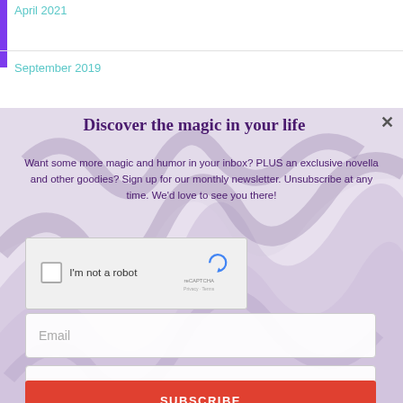April 2021
September 2019
Discover the magic in your life
Want some more magic and humor in your inbox? PLUS an exclusive novella and other goodies? Sign up for our monthly newsletter. Unsubscribe at any time. We'd love to see you there!
[Figure (screenshot): reCAPTCHA widget with checkbox labeled 'I'm not a robot']
Email
Name
SUBSCRIBE